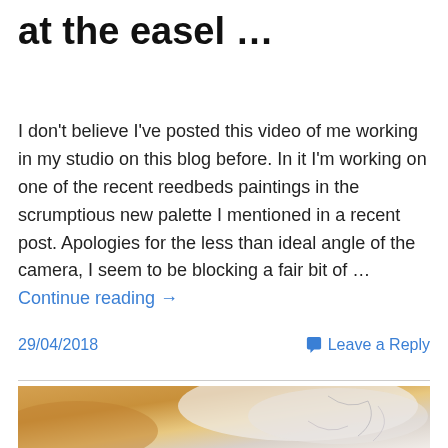at the easel …
I don't believe I've posted this video of me working in my studio on this blog before. In it I'm working on one of the recent reedbeds paintings in the scrumptious new palette I mentioned in a recent post. Apologies for the less than ideal angle of the camera, I seem to be blocking a fair bit of … Continue reading →
29/04/2018  Leave a Reply
[Figure (photo): Close-up of a painting in progress showing warm golden/amber and soft white/grey brushstrokes with faint sketch lines visible, appearing to depict a figure or abstract form.]